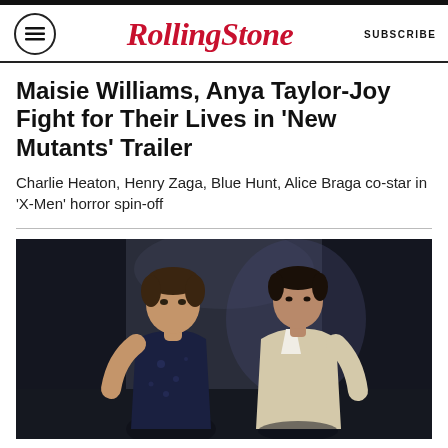Rolling Stone | SUBSCRIBE
Maisie Williams, Anya Taylor-Joy Fight for Their Lives in ‘New Mutants’ Trailer
Charlie Heaton, Henry Zaga, Blue Hunt, Alice Braga co-star in ‘X-Men’ horror spin-off
[Figure (photo): Two male actors standing in a dimly lit corridor. The man on the left wears a dark navy t-shirt with a pattern; the man on the right wears a light cream blazer over a white shirt.]